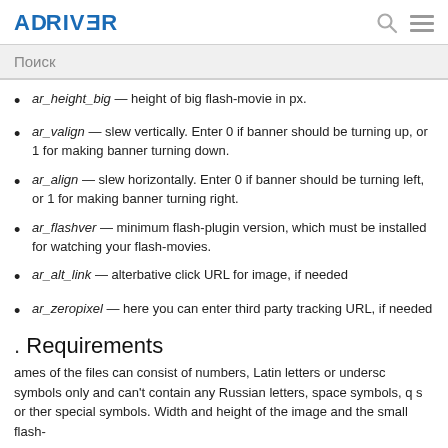AdDriver
Поиск
ar_height_big — height of big flash-movie in px.
ar_valign — slew vertically. Enter 0 if banner should be turning up, or 1 for making banner turning down.
ar_align — slew horizontally. Enter 0 if banner should be turning left, or 1 for making banner turning right.
ar_flashver — minimum flash-plugin version, which must be installed for watching your flash-movies.
ar_alt_link — alterbative click URL for image, if needed
ar_zeropixel — here you can enter third party tracking URL, if needed
Requirements
ames of the files can consist of numbers, Latin letters or undersc symbols only and can't contain any Russian letters, space symbols, q s or ther special symbols. Width and height of the image and the small flash-